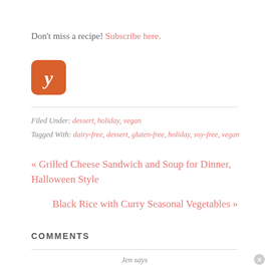Don't miss a recipe! Subscribe here.
[Figure (logo): Yummly orange rounded square icon with cursive white 'y' letter]
Filed Under: dessert, holiday, vegan
Tagged With: dairy-free, dessert, gluten-free, holiday, soy-free, vegan
« Grilled Cheese Sandwich and Soup for Dinner, Halloween Style
Black Rice with Curry Seasonal Vegetables »
COMMENTS
Jen says